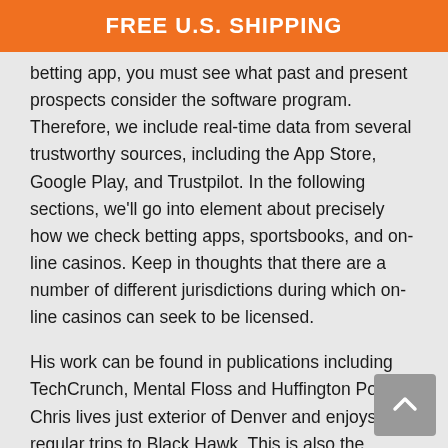FREE U.S. SHIPPING
betting app, you must see what past and present prospects consider the software program. Therefore, we include real-time data from several trustworthy sources, including the App Store, Google Play, and Trustpilot. In the following sections, we'll go into element about precisely how we check betting apps, sportsbooks, and on-line casinos. Keep in thoughts that there are a number of different jurisdictions during which on-line casinos can seek to be licensed.
His work can be found in publications including TechCrunch, Mental Floss and Huffington Post. Chris lives just exterior of Denver and enjoys regular trips to Black Hawk. This is also the minimum age to make use of a sportsbook app within the state.
With Football being the most well-liked sport worldwide, we expect it to have more betting markets than other sports. Check if the variety is broad and if there are enough in-play markets as well